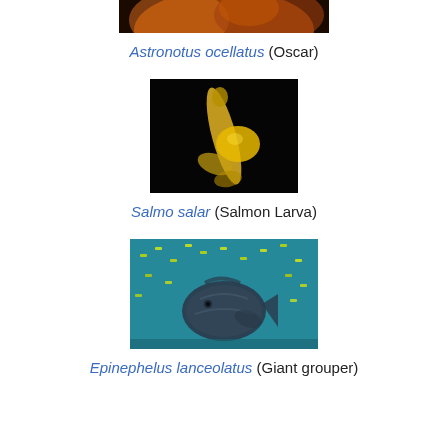[Figure (photo): Photo of Astronotus ocellatus (Oscar fish), partially visible at top of page]
Astronotus ocellatus (Oscar)
[Figure (photo): Photo of Salmo salar salmon larva on black background, showing yolk sac]
Salmo salar (Salmon Larva)
[Figure (photo): Underwater photo of Epinephelus lanceolatus (Giant grouper) surrounded by small yellow fish in blue water]
Epinephelus lanceolatus (Giant grouper)